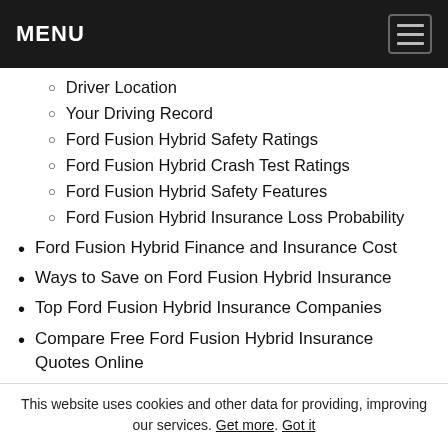MENU
Driver Location
Your Driving Record
Ford Fusion Hybrid Safety Ratings
Ford Fusion Hybrid Crash Test Ratings
Ford Fusion Hybrid Safety Features
Ford Fusion Hybrid Insurance Loss Probability
Ford Fusion Hybrid Finance and Insurance Cost
Ways to Save on Ford Fusion Hybrid Insurance
Top Ford Fusion Hybrid Insurance Companies
Compare Free Ford Fusion Hybrid Insurance Quotes Online
Ford Fusion Hybrid Insurance
This website uses cookies and other data for providing, improving our services. Get more. Got it